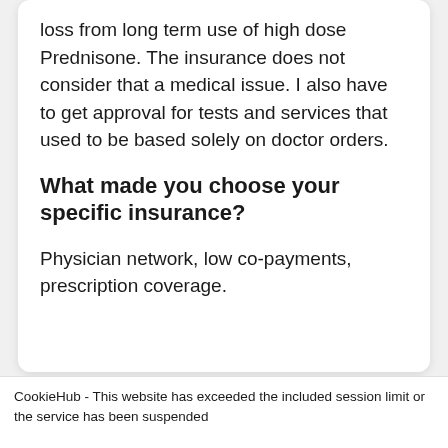loss from long term use of high dose Prednisone. The insurance does not consider that a medical issue. I also have to get approval for tests and services that used to be based solely on doctor orders.
What made you choose your specific insurance?
Physician network, low co-payments, prescription coverage.
CookieHub - This website has exceeded the included session limit or the service has been suspended